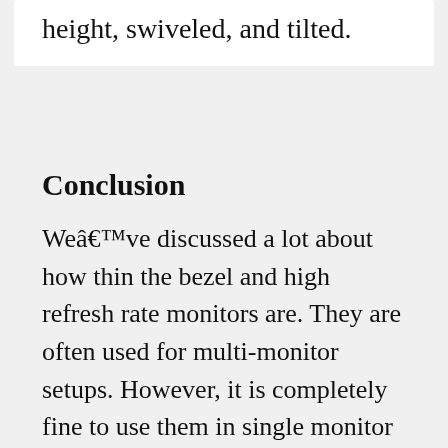height, swiveled, and tilted.
Conclusion
Weâ€™ve discussed a lot about how thin the bezel and high refresh rate monitors are. They are often used for multi-monitor setups. However, it is completely fine to use them in single monitor setups as well.Â